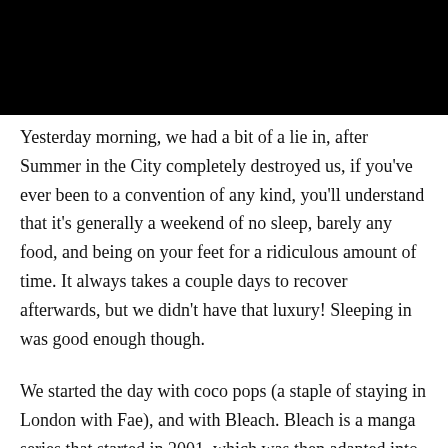Yesterday morning, we had a bit of a lie in, after Summer in the City completely destroyed us, if you've ever been to a convention of any kind, you'll understand that it's generally a weekend of no sleep, barely any food, and being on your feet for a ridiculous amount of time. It always takes a couple days to recover afterwards, but we didn't have that luxury! Sleeping in was good enough though.
We started the day with coco pops (a staple of staying in London with Fae), and with Bleach. Bleach is a manga series that started in 2001, which was then adapted into an anime series in 2004. We felt very nostalgic about the time we used to love Bleach, which was an amazing series for a while, the manga is still going and